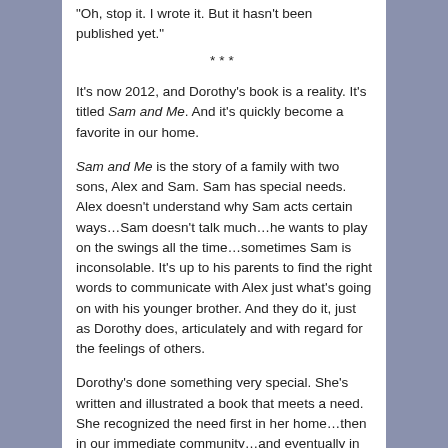Oh, stop it. I wrote it. But it hasn't been published yet.
***
It's now 2012, and Dorothy's book is a reality. It's titled Sam and Me. And it's quickly become a favorite in our home.
Sam and Me is the story of a family with two sons, Alex and Sam. Sam has special needs. Alex doesn't understand why Sam acts certain ways…Sam doesn't talk much…he wants to play on the swings all the time…sometimes Sam is inconsolable. It's up to his parents to find the right words to communicate with Alex just what's going on with his younger brother. And they do it, just as Dorothy does, articulately and with regard for the feelings of others.
Dorothy's done something very special. She's written and illustrated a book that meets a need. She recognized the need first in her home…then in our immediate community…and eventually in society at large. In the